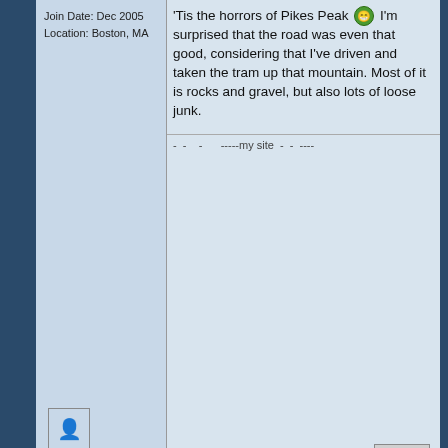Join Date: Dec 2005
Location: Boston, MA
'Tis the horrors of Pikes Peak 😁 I'm surprised that the road was even that good, considering that I've driven and taken the tram up that mountain. Most of it is rocks and gravel, but also lots of loose junk.
- - - -----my site - - ----
[Figure (other): User avatar placeholder icon]
quote
Windswept
On Pacific time
moderator
Join Date: May 2004
Location: Moderator's Pub
2006-08-14, 13:18
Quote:
Originally Posted by World Leader Pretend
'Tis the horrors of Pikes Peak 😁 I'm surprised that the road was even that good, considering